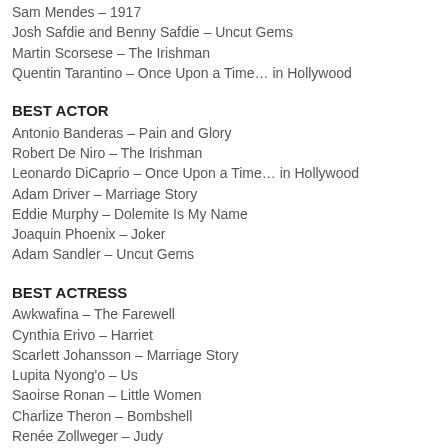Sam Mendes – 1917
Josh Safdie and Benny Safdie – Uncut Gems
Martin Scorsese – The Irishman
Quentin Tarantino – Once Upon a Time… in Hollywood
BEST ACTOR
Antonio Banderas – Pain and Glory
Robert De Niro – The Irishman
Leonardo DiCaprio – Once Upon a Time… in Hollywood
Adam Driver – Marriage Story
Eddie Murphy – Dolemite Is My Name
Joaquin Phoenix – Joker
Adam Sandler – Uncut Gems
BEST ACTRESS
Awkwafina – The Farewell
Cynthia Erivo – Harriet
Scarlett Johansson – Marriage Story
Lupita Nyong'o – Us
Saoirse Ronan – Little Women
Charlize Theron – Bombshell
Renée Zollweger – Judy